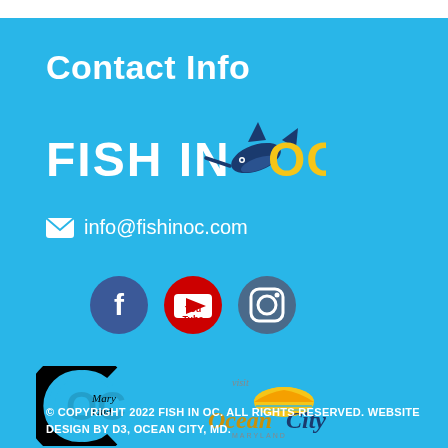Contact Info
[Figure (logo): Fish In OC logo with marlin jumping through the letters]
info@fishinoc.com
[Figure (logo): Social media icons: Facebook, YouTube, Instagram]
[Figure (logo): OC Maryland logo and Visit Ocean City Maryland logo]
© COPYRIGHT 2022 FISH IN OC. ALL RIGHTS RESERVED. WEBSITE DESIGN BY D3, OCEAN CITY, MD.